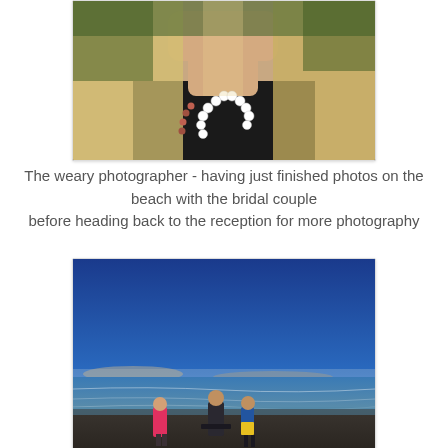[Figure (photo): Close-up photo of a blonde woman with a white beaded necklace and dark top, cropped at chest/neck level with green foliage visible in background]
The weary photographer - having just finished photos on the beach with the bridal couple before heading back to the reception for more photography
[Figure (photo): Beach scene at dusk with deep blue sky, calm ocean, and silhouettes of children standing on the dark sand near the water's edge]